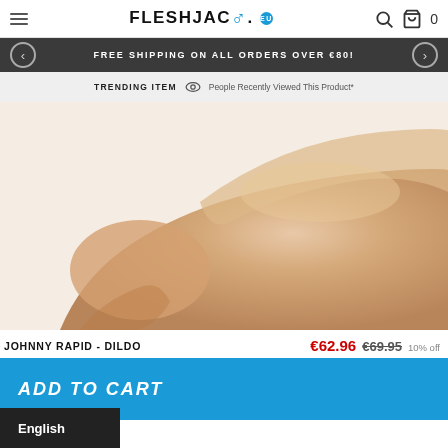FLESHJACK.EU
FREE SHIPPING ON ALL ORDERS OVER €80!
TRENDING ITEM  People Recently Viewed This Product*
[Figure (photo): Close-up product photo of the Johnny Rapid Dildo on a light background]
JOHNNY RAPID - DILDO  €62.96  €69.95  10% off
ADD TO CART
English